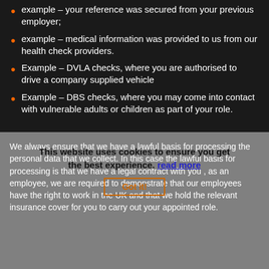example – your reference was secured from your previous employer;
example – medical information was provided to us from our health check providers.
Example – DVLA checks, where you are authorised to drive a company supplied vehicle
Example – DBS checks, where you may come into contact with vulnerable adults or children as part of your role.
We always ensure that we have a lawful basis for processing the personal data that we collect. In this case the lawful basis for processing is that we have a legal contract with you , as an employee, we are required to demonstrate that our employees have the right to work in the UK and that we hold the relevant insurance cover for you to carry out your appointed role.